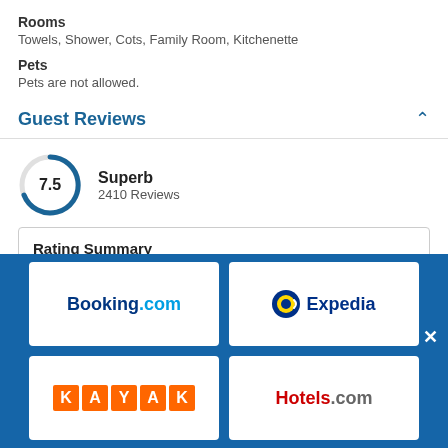Rooms
Towels, Shower, Cots, Family Room, Kitchenette
Pets
Pets are not allowed.
Guest Reviews
7.5 Superb 2410 Reviews
Rating Summary
Cleanliness 9.1
[Figure (infographic): Blue overlay with four travel booking site logos: Booking.com, Expedia, KAYAK, Hotels.com arranged in a 2x2 grid on a blue background]